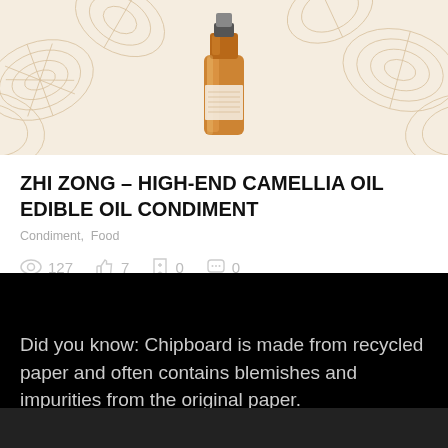[Figure (photo): Product image showing a bottle of camellia oil on a decorative background with golden leaf/shell pattern illustrations]
ZHI ZONG – HIGH-END CAMELLIA OIL EDIBLE OIL CONDIMENT
Condiment,  Food
127  7  0  0
xiangaopeng   18 hours ago
Did you know: Chipboard is made from recycled paper and often contains blemishes and impurities from the original paper.